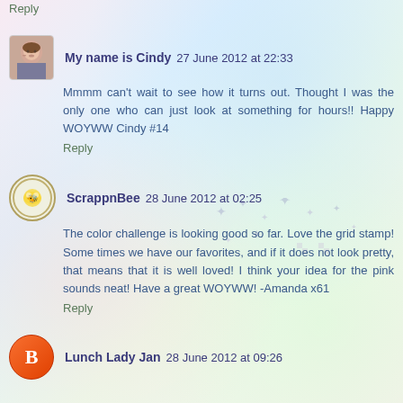Reply
My name is Cindy 27 June 2012 at 22:33
Mmmm can't wait to see how it turns out. Thought I was the only one who can just look at something for hours!! Happy WOYWW Cindy #14
Reply
ScrappnBee 28 June 2012 at 02:25
The color challenge is looking good so far. Love the grid stamp! Some times we have our favorites, and if it does not look pretty, that means that it is well loved! I think your idea for the pink sounds neat! Have a great WOYWW! -Amanda x61
Reply
Lunch Lady Jan 28 June 2012 at 09:26